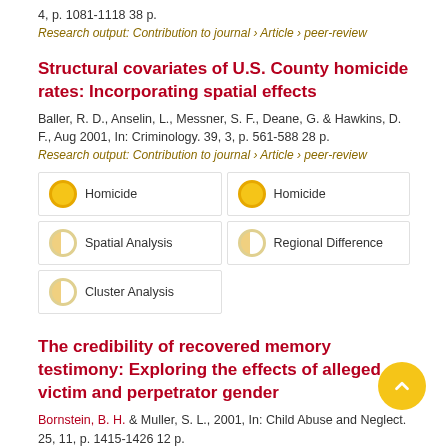4, p. 1081-1118 38 p.
Research output: Contribution to journal › Article › peer-review
Structural covariates of U.S. County homicide rates: Incorporating spatial effects
Baller, R. D., Anselin, L., Messner, S. F., Deane, G. & Hawkins, D. F., Aug 2001, In: Criminology. 39, 3, p. 561-588 28 p.
Research output: Contribution to journal › Article › peer-review
Homicide
Homicide
Spatial Analysis
Regional Difference
Cluster Analysis
The credibility of recovered memory testimony: Exploring the effects of alleged victim and perpetrator gender
Bornstein, B. H. & Muller, S. L., 2001, In: Child Abuse and Neglect. 25, 11, p. 1415-1426 12 p.